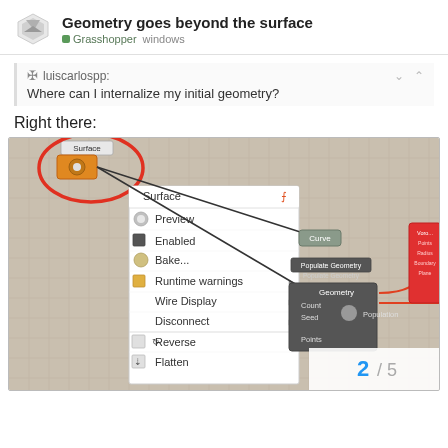Geometry goes beyond the surface — Grasshopper windows
luiscarlospp:
Where can I internalize my initial geometry?
Right there:
[Figure (screenshot): Grasshopper node editor screenshot showing a right-click context menu on a Surface component with options: Surface, Preview, Enabled, Bake..., Runtime warnings, Wire Display, Disconnect, Reverse, Flatten, Graft, Simplify, Reparameterize, Set one Surface. The Surface component is circled in red. Other nodes visible: Populate Geometry, a Voronoi component with Points/Radius/Boundary/Plane outputs. Page indicator 2/5 visible at bottom right.]